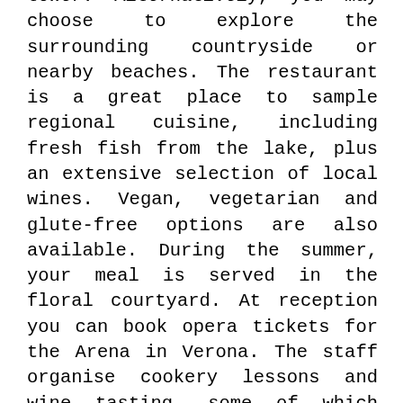tower. Alternatively, you may choose to explore the surrounding countryside or nearby beaches. The restaurant is a great place to sample regional cuisine, including fresh fish from the lake, plus an extensive selection of local wines. Vegan, vegetarian and glute-free options are also available. During the summer, your meal is served in the floral courtyard. At reception you can book opera tickets for the Arena in Verona. The staff organise cookery lessons and wine tasting, some of which take place at the hotel itself. During the summer, you have an open-air cinema just 100 m away. The Hotel San Filis provides an airport transfer service on request and at an additional cost.